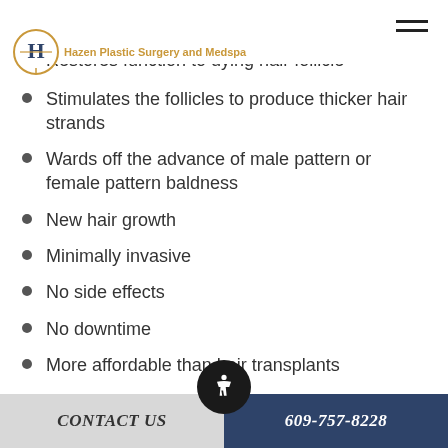Hazen Plastic Surgery and Medspa
Triggers natural hair growth
Restores function to dying hair follicles
Stimulates the follicles to produce thicker hair strands
Wards off the advance of male pattern or female pattern baldness
New hair growth
Minimally invasive
No side effects
No downtime
More affordable than hair transplants
CONTACT US | 609-757-8228